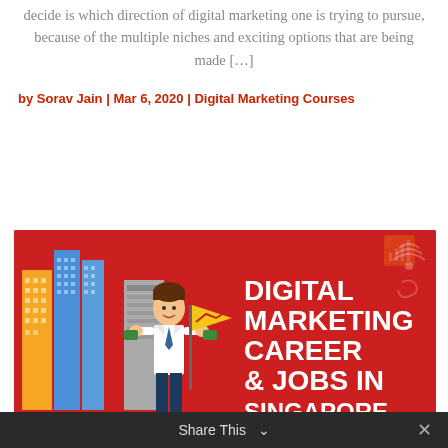decide is which direction of digital marketing one is trying to pursue, because of the multiple niches and exciting options that are being made [...]
by Sorav Jain | Mar 6, 2020 | Digital Marketing Courses
[Figure (illustration): Red banner image with cartoon illustration of a person holding a flag in front of city buildings, with bold white text reading 'DIGITAL MARKETING CAREER & JOBS IN SINGAPORE']
Share This ∨  ✕